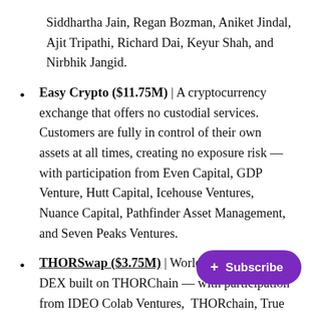Siddhartha Jain, Regan Bozman, Aniket Jindal, Ajit Tripathi, Richard Dai, Keyur Shah, and Nirbhik Jangid.
Easy Crypto ($11.75M) | A cryptocurrency exchange that offers no custodial services. Customers are fully in control of their own assets at all times, creating no exposure risk — with participation from Even Capital, GDP Venture, Hutt Capital, Icehouse Ventures, Nuance Capital, Pathfinder Asset Management, and Seven Peaks Ventures.
THORSwap ($3.75M) | World's #1 multi-chain DEX built on THORChain — with participation from IDEO Colab Ventures, THORchain, True Ventures, Ventures, Qi Capital, and Proof Group.